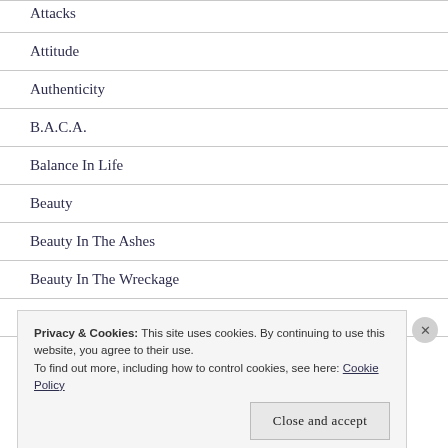Attacks
Attitude
Authenticity
B.A.C.A.
Balance In Life
Beauty
Beauty In The Ashes
Beauty In The Wreckage
Being Led By The Spirit
Privacy & Cookies: This site uses cookies. By continuing to use this website, you agree to their use.
To find out more, including how to control cookies, see here: Cookie Policy
Close and accept